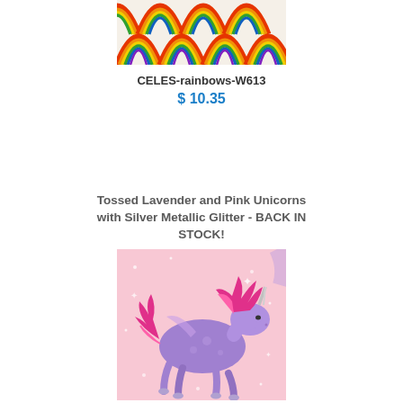[Figure (photo): Rainbow pattern fabric swatch with colorful arched rainbows on cream background]
CELES-rainbows-W613
$ 10.35
Tossed Lavender and Pink Unicorns with Silver Metallic Glitter - BACK IN STOCK!
[Figure (photo): Pink fabric with a purple and pink unicorn illustration with glitter, on light pink background]
AN-unicorns-U42
$ 10.75